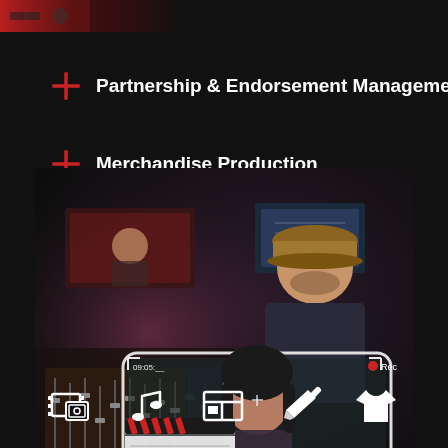[Figure (photo): Partial top image showing a red-tinted studio/band scene]
Partnership & Endorsement Management
Merchandise Production
[Figure (photo): Studio scene with man in hat holding camera/phone showing a woman being filmed on a clapperboard scene. Camera viewfinder overlay with Rec indicator, timecode, and resolution readout 3840x2160.]
[Figure (infographic): Row of 5 white icons: film/photo, music note, browser/layout, paintbrush, t-shirt]